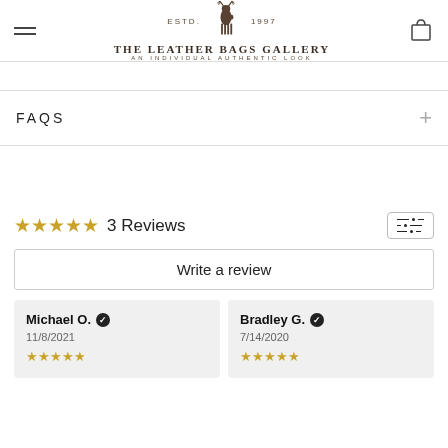The Leather Bags Gallery — AN INDIVIDUAL AUTHENTIC LOOK, ESTD. 1997
FAQS
★★★★★ 3 Reviews
Write a review
Michael O. ✔ 11/8/2021 ★★★★★
Bradley G. ✔ 7/14/2020 ★★★★★